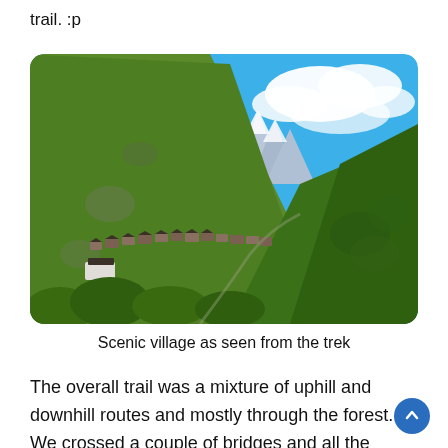trail. :p
[Figure (photo): A scenic mountain valley photo showing a Himalayan village nestled along a hillside, with steep green mountains on the left, a valley opening to snow-capped peaks in the background under a vivid blue sky with white clouds, and dense forest on the right.]
Scenic village as seen from the trek
The overall trail was a mixture of uphill and downhill routes and mostly through the forest. We crossed a couple of bridges and all the